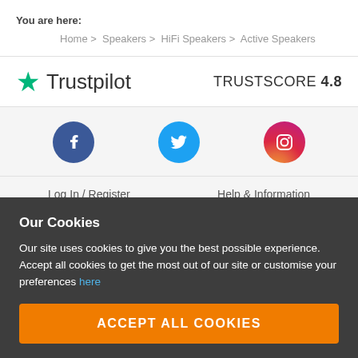You are here:
Home > Speakers > HiFi Speakers > Active Speakers
[Figure (logo): Trustpilot logo with green star and TRUSTSCORE 4.8]
[Figure (infographic): Social media icons: Facebook, Twitter, Instagram]
Log In / Register
Help & Information
Contact Us
Delivery
Our Cookies
Our site uses cookies to give you the best possible experience. Accept all cookies to get the most out of our site or customise your preferences here
ACCEPT ALL COOKIES